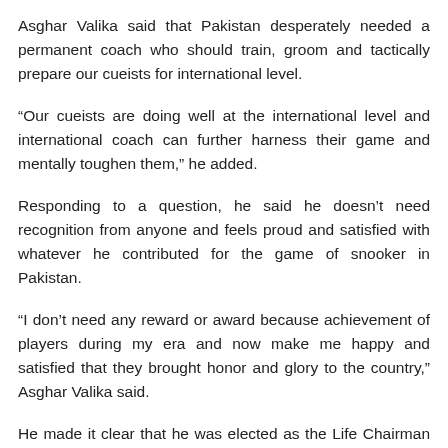Asghar Valika said that Pakistan desperately needed a permanent coach who should train, groom and tactically prepare our cueists for international level.
“Our cueists are doing well at the international level and international coach can further harness their game and mentally toughen them,” he added.
Responding to a question, he said he doesn’t need recognition from anyone and feels proud and satisfied with whatever he contributed for the game of snooker in Pakistan.
“I don’t need any reward or award because achievement of players during my era and now make me happy and satisfied that they brought honor and glory to the country,” Asghar Valika said.
He made it clear that he was elected as the Life Chairman of PBSA by General Body and not by the executive committee.
Asghar Valika showed his disappointment over the fact that